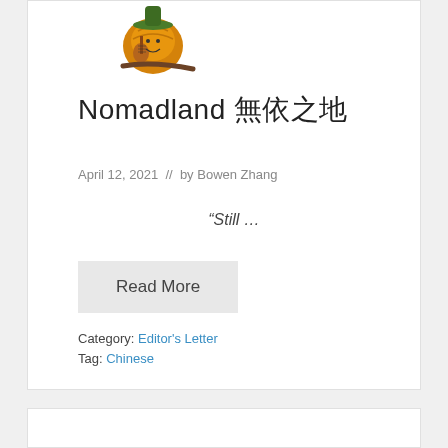[Figure (illustration): Small decorative figurine of a character holding a guitar, sitting on a branch]
Nomadland 無依之地
April 12, 2021  //  by Bowen Zhang
“Still …
Read More
Category: Editor's Letter
Tag: Chinese
[Figure (illustration): Partial view of a colorful illustration at the bottom of the page]